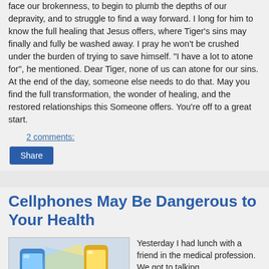face our brokenness, to begin to plumb the depths of our depravity, and to struggle to find a way forward. I long for him to know the full healing that Jesus offers, where Tiger's sins may finally and fully be washed away. I pray he won't be crushed under the burden of trying to save himself. "I have a lot to atone for", he mentioned. Dear Tiger, none of us can atone for our sins. At the end of the day, someone else needs to do that. May you find the full transformation, the wonder of healing, and the restored relationships this Someone offers. You're off to a great start.
2 comments:
Share
Cellphones May Be Dangerous to Your Health
[Figure (photo): Two mobile phones with a hand, one blue and one yellow, emitting light beams]
Yesterday I had lunch with a friend in the medical profession. We got to talking